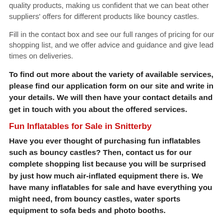quality products, making us confident that we can beat other suppliers' offers for different products like bouncy castles.
Fill in the contact box and see our full ranges of pricing for our shopping list, and we offer advice and guidance and give lead times on deliveries.
To find out more about the variety of available services, please find our application form on our site and write in your details. We will then have your contact details and get in touch with you about the offered services.
Fun Inflatables for Sale in Snitterby
Have you ever thought of purchasing fun inflatables such as bouncy castles? Then, contact us for our complete shopping list because you will be surprised by just how much air-inflated equipment there is. We have many inflatables for sale and have everything you might need, from bouncy castles, water sports equipment to sofa beds and photo booths.
We recommend purchasing your equipment for your inflatables like